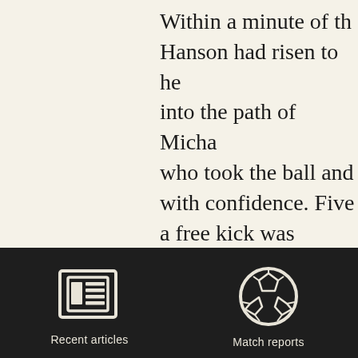Within a minute of th... Hanson had risen to he... into the path of Micha... who took the ball and... with confidence. Five... a free kick was centred... – who scored two agai... New Years Day last sea... home firmly.
[Figure (screenshot): Dark footer navigation bar with two icons: a newspaper icon labeled 'Recent articles' and a soccer ball icon labeled 'Match reports']